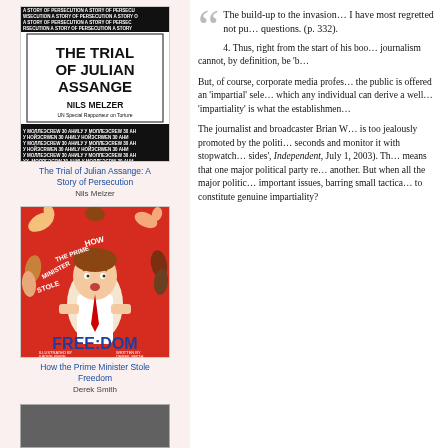[Figure (illustration): Book cover: The Trial of Julian Assange: A Story of Persecution by Nils Melzer. Black and white cover with bold title text and repeated text pattern border.]
The Trial of Julian Assange: A Story of Persecution
Nils Melzer
[Figure (illustration): Book cover: How the Prime Minister Stole Freedom by Derek Smith, illustrated by Kadpe Knipe. Red background with cartoon figure holding letters, hands reaching from around.]
How the Prime Minister Stole Freedom
Derek Smith
[Figure (photo): Partial book cover visible at bottom of left column, dark/grey image.]
The build-up to the invasion… I have most regretted not pu… questions. (p. 332).
4. Thus, right from the start of his boo… journalism cannot, by definition, be 'b…
But, of course, corporate media profe… the public is offered an 'impartial' sel… which any individual can derive a wel… 'impartiality' is what the establishmen…
The journalist and broadcaster Brian W… is too jealously promoted by the politi… seconds and monitor it with stopwatch… sides', Independent, July 1, 2003). Th… means that one major political party r… another. But when all the major politic… important issues, barring small tactica… to constitute genuine impartiality?